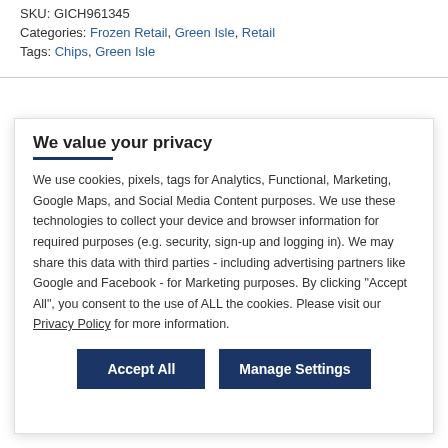SKU: GICH961345
Categories: Frozen Retail, Green Isle, Retail
Tags: Chips, Green Isle
We value your privacy
We use cookies, pixels, tags for Analytics, Functional, Marketing, Google Maps, and Social Media Content purposes. We use these technologies to collect your device and browser information for required purposes (e.g. security, sign-up and logging in). We may share this data with third parties - including advertising partners like Google and Facebook - for Marketing purposes. By clicking "Accept All", you consent to the use of ALL the cookies. Please visit our Privacy Policy for more information.
Accept All
Manage Settings